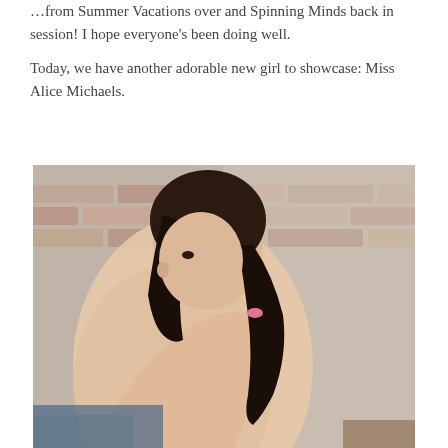…from Summer Vacations over and Spinning Minds back in session! I hope everyone's been doing well.
Today, we have another adorable new girl to showcase: Miss Alice Michaels.
[Figure (photo): A young woman with short dark hair pulled back with a pink hair tie, looking over her shoulder toward the camera, photographed against a brick wall background.]